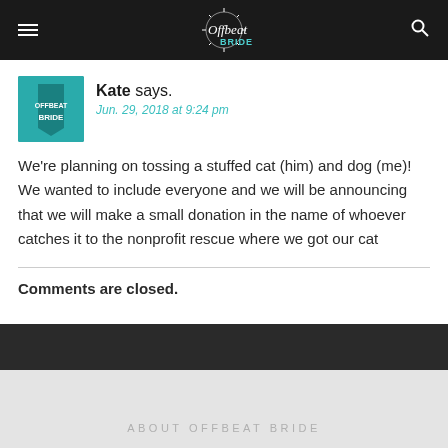Offbeat Bride
Kate says.
Jun. 29, 2018 at 9:24 pm
We're planning on tossing a stuffed cat (him) and dog (me)! We wanted to include everyone and we will be announcing that we will make a small donation in the name of whoever catches it to the nonprofit rescue where we got our cat
Comments are closed.